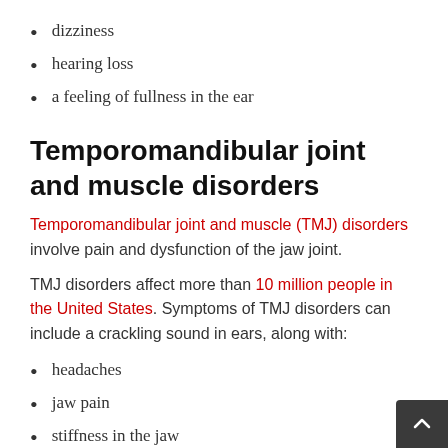dizziness
hearing loss
a feeling of fullness in the ear
Temporomandibular joint and muscle disorders
Temporomandibular joint and muscle (TMJ) disorders involve pain and dysfunction of the jaw joint.
TMJ disorders affect more than 10 million people in the United States. Symptoms of TMJ disorders can include a crackling sound in ears, along with:
headaches
jaw pain
stiffness in the jaw
limited movement of the jaw